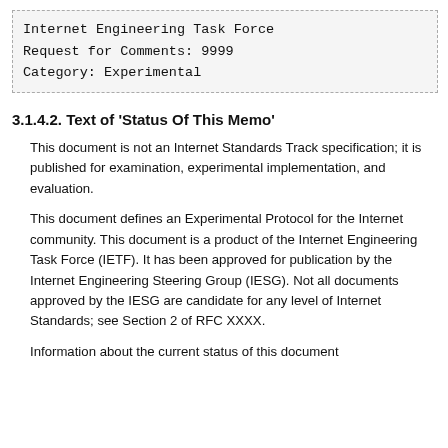Internet Engineering Task Force
Request for Comments: 9999
Category: Experimental
3.1.4.2. Text of 'Status Of This Memo'
This document is not an Internet Standards Track specification; it is published for examination, experimental implementation, and evaluation.
This document defines an Experimental Protocol for the Internet community. This document is a product of the Internet Engineering Task Force (IETF). It has been approved for publication by the Internet Engineering Steering Group (IESG). Not all documents approved by the IESG are candidate for any level of Internet Standards; see Section 2 of RFC XXXX.
Information about the current status of this document